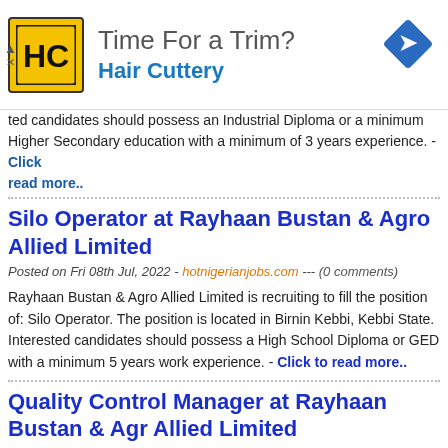[Figure (advertisement): Hair Cuttery ad banner with yellow HC logo, text 'Time For a Trim?' and 'Hair Cuttery' in blue, blue diamond arrow icon top right]
ted candidates should possess an Industrial Diploma or a minimum Higher Secondary education with a minimum of 3 years experience. - Click to read more..
Silo Operator at Rayhaan Bustan & Agro Allied Limited
Posted on Fri 08th Jul, 2022 - hotnigerianjobs.com --- (0 comments)
Rayhaan Bustan & Agro Allied Limited is recruiting to fill the position of: Silo Operator. The position is located in Birnin Kebbi, Kebbi State. Interested candidates should possess a High School Diploma or GED with a minimum 5 years work experience. - Click to read more..
Quality Control Manager at Rayhaan Bustan & Agro Allied Limited